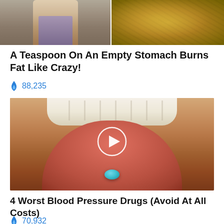[Figure (photo): Two photos side by side at top: left shows a woman's torso in athletic shorts, right shows a close-up of seeds or grain]
A Teaspoon On An Empty Stomach Burns Fat Like Crazy!
🔥 88,235
[Figure (photo): Close-up of a mouth with tongue extended, holding a blue pill, with a play button overlay]
4 Worst Blood Pressure Drugs (Avoid At All Costs)
🔥 70,932